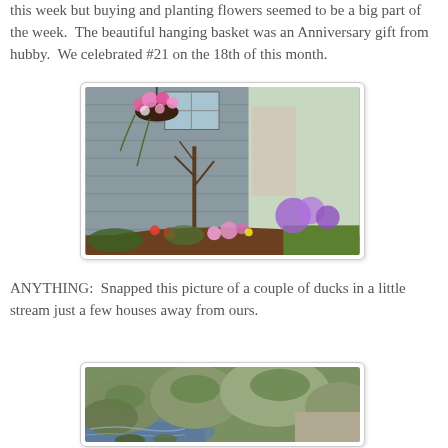this week but buying and planting flowers seemed to be a big part of the week.  The beautiful hanging basket was an Anniversary gift from hubby.  We celebrated #21 on the 18th of this month.
[Figure (photo): A garden flower bed against a gray house siding with colorful flowers including pink, purple, red and yellow blooms, and a hanging basket of pink flowers above.]
ANYTHING:  Snapped this picture of a couple of ducks in a little stream just a few houses away from ours.
[Figure (photo): A small stream with mossy rocks and stones, partially visible ducks at the bottom.]